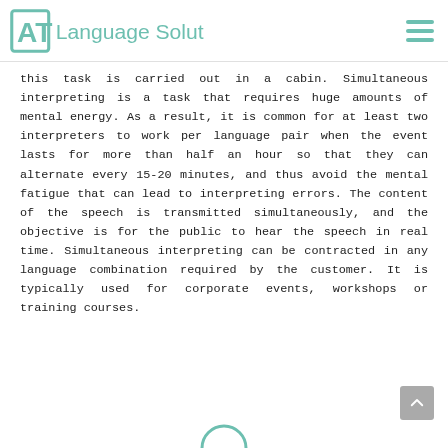AT Language Solutions
this task is carried out in a cabin. Simultaneous interpreting is a task that requires huge amounts of mental energy. As a result, it is common for at least two interpreters to work per language pair when the event lasts for more than half an hour so that they can alternate every 15-20 minutes, and thus avoid the mental fatigue that can lead to interpreting errors. The content of the speech is transmitted simultaneously, and the objective is for the public to hear the speech in real time. Simultaneous interpreting can be contracted in any language combination required by the customer. It is typically used for corporate events, workshops or training courses.